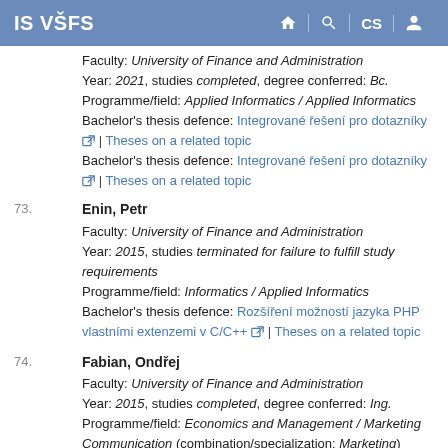IS VŠFS
Faculty: University of Finance and Administration
Year: 2021, studies completed, degree conferred: Bc.
Programme/field: Applied Informatics / Applied Informatics
Bachelor's thesis defence: Integrované řešení pro dotazníky | Theses on a related topic
Bachelor's thesis defence: Integrované řešení pro dotazníky | Theses on a related topic
73. Enin, Petr
Faculty: University of Finance and Administration
Year: 2015, studies terminated for failure to fulfill study requirements
Programme/field: Informatics / Applied Informatics
Bachelor's thesis defence: Rozšíření možností jazyka PHP vlastními extenzemi v C/C++ | Theses on a related topic
74. Fabian, Ondřej
Faculty: University of Finance and Administration
Year: 2015, studies completed, degree conferred: Ing.
Programme/field: Economics and Management / Marketing Communication (combination/specialization: Marketing)
Master's thesis defence: Možnosti a omezení obchodu prostřednictvím elektronických sítí | Theses on a related